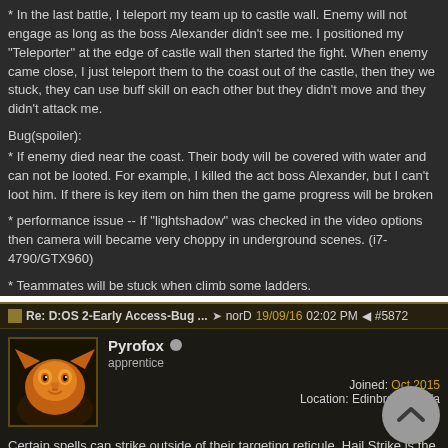* In the last battle, I teleport my team up to castle wall. Enemy will not engage as long as the boss Alexander didn't see me. I positioned my "Teleporter" at the edge of castle wall then started the fight. When enemy came close, I just teleport them to the coast out of the castle, then they we stuck, they can use buff skill on each other but they didn't move and they didn't attack me.
Bug(spoiler):
* If enemy died near the coast. Their body will be covered with water and can not be looted. For example, I killed the act boss Alexander, but I can't loot him. If there is key item on him then the game progress will be broken
* performance issue -- If "lightshadow" was checked in the video options then camera will became very choppy in underground scenes. (i7-4790/GTX960)
* Teammates will be stuck when climb some ladders.
Re: D:OS 2-Early Access-Bug ... norD 19/09/16 02:02 PM #5872
Pyrofox
apprentice
Joined: Oct 2015
Location: Edinburgh, Scotla
Certain spells can strike outside of their targeting reticule, Hail Strike is the biggest offender I've noticed.